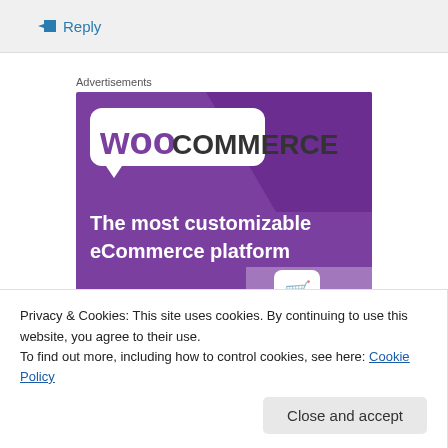↳ Reply
Advertisements
[Figure (illustration): WooCommerce advertisement banner on purple background with text 'The most customizable eCommerce platform', shopping cart icon, and 'Start a new store' button]
Privacy & Cookies: This site uses cookies. By continuing to use this website, you agree to their use.
To find out more, including how to control cookies, see here: Cookie Policy
Close and accept